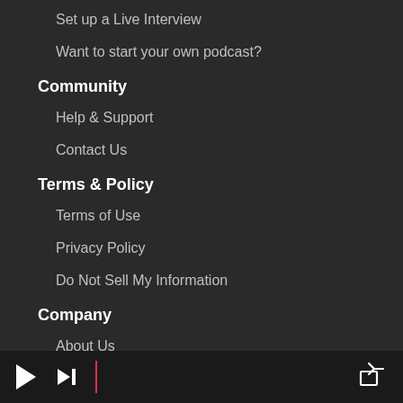Set up a Live Interview
Want to start your own podcast?
Community
Help & Support
Contact Us
Terms & Policy
Terms of Use
Privacy Policy
Do Not Sell My Information
Company
About Us
Connect With Us
[Figure (other): Media player bar with play button, skip button, progress divider line in red, and share/export icon on the right]